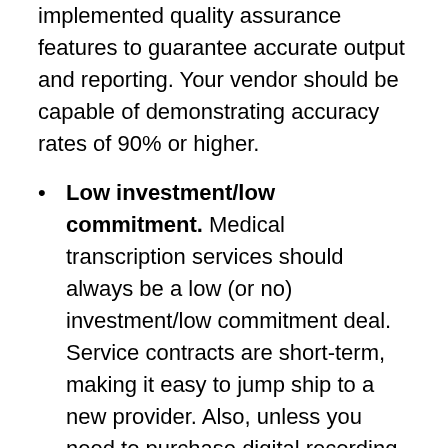implemented quality assurance features to guarantee accurate output and reporting. Your vendor should be capable of demonstrating accuracy rates of 90% or higher.
Low investment/low commitment. Medical transcription services should always be a low (or no) investment/low commitment deal. Service contracts are short-term, making it easy to jump ship to a new provider. Also, unless you need to purchase digital recording devices or custom software, there should be no upfront investment.
Dedicated team approach. Vendors will